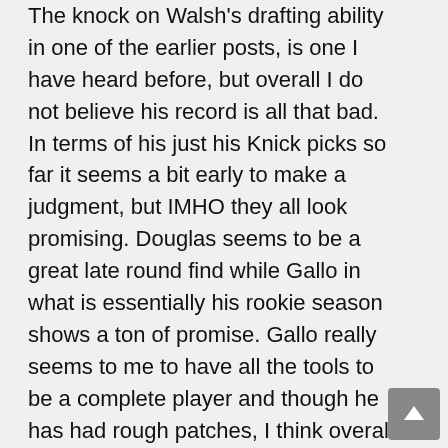The knock on Walsh's drafting ability in one of the earlier posts, is one I have heard before, but overall I do not believe his record is all that bad. In terms of his just his Knick picks so far it seems a bit early to make a judgment, but IMHO they all look promising. Douglas seems to be a great late round find while Gallo in what is essentially his rookie season shows a ton of promise. Gallo really seems to me to have all the tools to be a complete player and though he has had rough patches, I think overall has progressed well in this his first year. In terms of Jordan Hill, he did not get much of a chance to show his stuff here, but looks like he could be a solid player, maybe not spectacular player, but solid player for years to come. Presently in Houston, his TS% is 54%, and he comes off a recent game with five blocks.